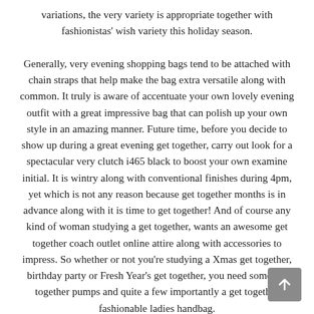variations, the very variety is appropriate together with fashionistas' wish variety this holiday season.

Generally, very evening shopping bags tend to be attached with chain straps that help make the bag extra versatile along with common. It truly is aware of accentuate your own lovely evening outfit with a great impressive bag that can polish up your own style in an amazing manner. Future time, before you decide to show up during a great evening get together, carry out look for a spectacular very clutch i465 black to boost your own examine initial. It is wintry along with conventional finishes during 4pm, yet which is not any reason because get together months is in advance along with it is time to get together! And of course any kind of woman studying a get together, wants an awesome get together coach outlet online attire along with accessories to impress. So whether or not you're studying a Xmas get together, birthday party or Fresh Year's get together, you need some get together pumps and quite a few importantly a get together fashionable ladies handbag.
[Figure (other): A grey square button with an upward-pointing white arrow icon, positioned at the bottom right corner of the page.]